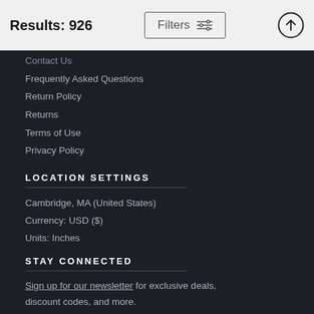Results: 926
Filters
Contact Us
Frequently Asked Questions
Return Policy
Returns
Terms of Use
Privacy Policy
LOCATION SETTINGS
Cambridge, MA (United States)
Currency: USD ($)
Units: Inches
STAY CONNECTED
Sign up for our newsletter for exclusive deals, discount codes, and more.
[Figure (other): Social media icons: Facebook, Twitter, Instagram, Pinterest, YouTube]